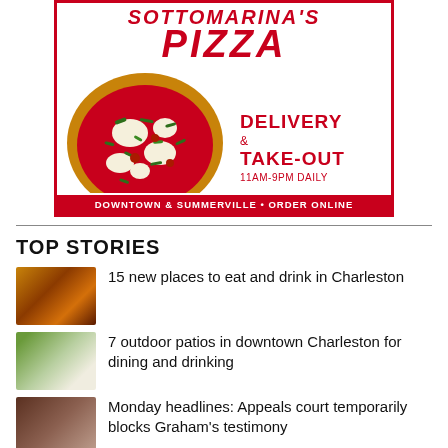[Figure (illustration): Pizza restaurant advertisement for Sottomarina's Pizza showing a large pizza with green herbs and white mozzarella on red sauce, with text DELIVERY & TAKE-OUT 11AM-9PM DAILY, DOWNTOWN & SUMMERVILLE • ORDER ONLINE]
TOP STORIES
15 new places to eat and drink in Charleston
7 outdoor patios in downtown Charleston for dining and drinking
Monday headlines: Appeals court temporarily blocks Graham's testimony
MYSTERY PHOTO, 8/22: Three holes